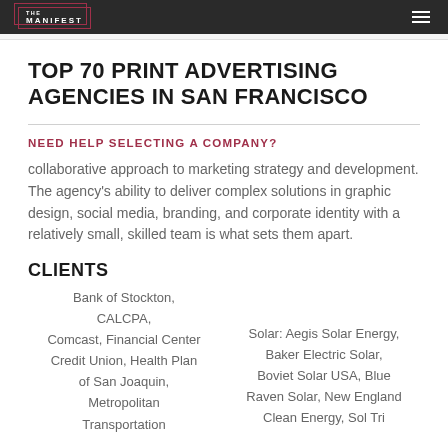THE MANIFEST
TOP 70 PRINT ADVERTISING AGENCIES IN SAN FRANCISCO
NEED HELP SELECTING A COMPANY?
collaborative approach to marketing strategy and development. The agency's ability to deliver complex solutions in graphic design, social media, branding, and corporate identity with a relatively small, skilled team is what sets them apart.
CLIENTS
Bank of Stockton, CALCPA, Comcast, Financial Center Credit Union, Health Plan of San Joaquin, Metropolitan Transportation
Solar: Aegis Solar Energy, Baker Electric Solar, Boviet Solar USA, Blue Raven Solar, New England Clean Energy, Sol Tri